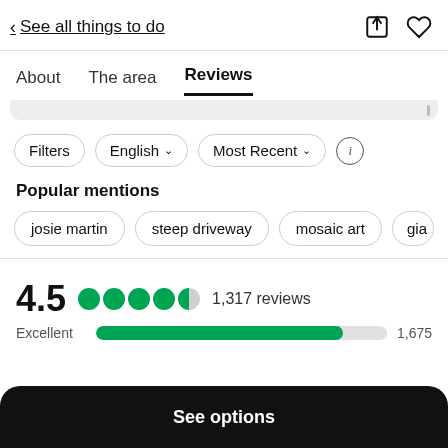< See all things to do
About  The area  Reviews
Filters  English ∨  Most Recent ∨
Popular mentions
josie martin
steep driveway
mosaic art
gia
4.5  1,317 reviews
Excellent  1,675
See options